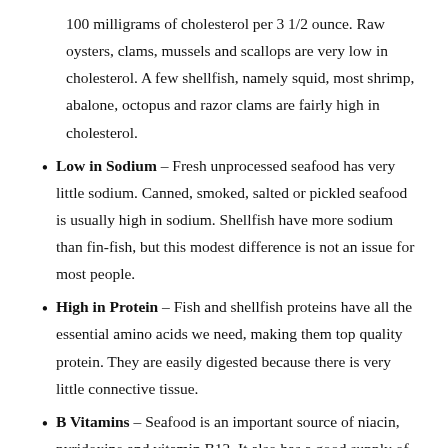100 milligrams of cholesterol per 3 1/2 ounce. Raw oysters, clams, mussels and scallops are very low in cholesterol. A few shellfish, namely squid, most shrimp, abalone, octopus and razor clams are fairly high in cholesterol.
Low in Sodium – Fresh unprocessed seafood has very little sodium. Canned, smoked, salted or pickled seafood is usually high in sodium. Shellfish have more sodium than fin-fish, but this modest difference is not an issue for most people.
High in Protein – Fish and shellfish proteins have all the essential amino acids we need, making them top quality protein. They are easily digested because there is very little connective tissue.
B Vitamins – Seafood is an important source of niacin, pyridoxine and vitamin B12. It also has a good supply of